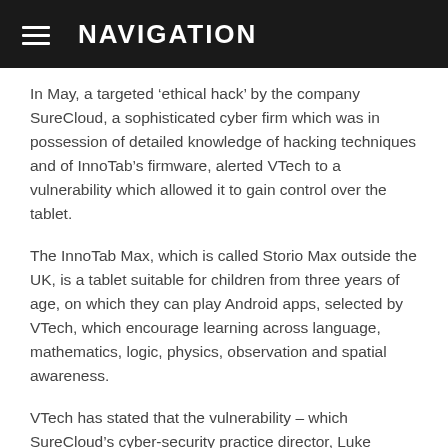NAVIGATION
In May, a targeted ‘ethical hack’ by the company SureCloud, a sophisticated cyber firm which was in possession of detailed knowledge of hacking techniques and of InnoTab’s firmware, alerted VTech to a vulnerability which allowed it to gain control over the tablet.
The InnoTab Max, which is called Storio Max outside the UK, is a tablet suitable for children from three years of age, on which they can play Android apps, selected by VTech, which encourage learning across language, mathematics, logic, physics, observation and spatial awareness.
VTech has stated that the vulnerability – which SureCloud’s cyber-security practice director, Luke Potter, told the BBC “wasn’t easy to find” – has not been exploited by anyone other than the firm, and that the chances of this happening are “remote”.
In a statement released to the BBC Watchdog programme, VTech said: “We thank SureCloud for bringing this vulnerability on the